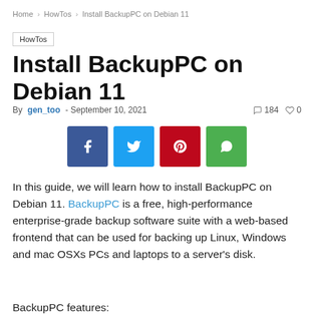Home › HowTos › Install BackupPC on Debian 11
HowTos
Install BackupPC on Debian 11
By gen_too - September 10, 2021   184  0
[Figure (other): Four social media share buttons: Facebook (dark blue), Twitter (light blue), Pinterest (red), WhatsApp (green), each with a white icon]
In this guide, we will learn how to install BackupPC on Debian 11. BackupPC is a free, high-performance enterprise-grade backup software suite with a web-based frontend that can be used for backing up Linux, Windows and mac OSXs PCs and laptops to a server's disk.
BackupPC features: